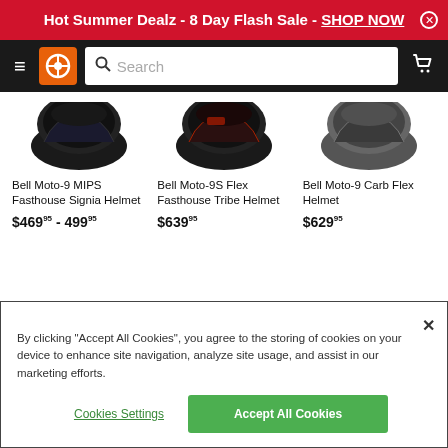Hot Summer Dealz - 8 Day Flash Sale - SHOP NOW
[Figure (screenshot): Website navigation bar with hamburger menu, orange logo icon, search bar, and cart icon]
[Figure (photo): Bell Moto-9 MIPS Fasthouse Signia Helmet product image - dark colored helmet top view]
Bell Moto-9 MIPS Fasthouse Signia Helmet
$469.95 - 499.95
[Figure (photo): Bell Moto-9S Flex Fasthouse Tribe Helmet product image - dark colored helmet top view]
Bell Moto-9S Flex Fasthouse Tribe Helmet
$639.95
[Figure (photo): Bell Moto-9 Carb Flex Helmet product image - grey helmet top view]
Bell Moto-9 Carb Flex Helmet
$629.95
By clicking “Accept All Cookies”, you agree to the storing of cookies on your device to enhance site navigation, analyze site usage, and assist in our marketing efforts.
Cookies Settings
Accept All Cookies